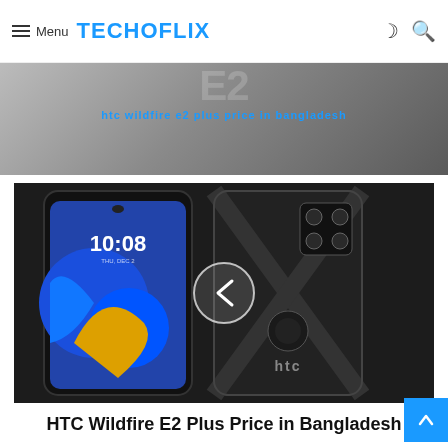Menu TECHOFLIX
[Figure (screenshot): Techoflix website screenshot showing HTC Wildfire E2 Plus phone images front and back, with navigation overlay and article title]
HTC Wildfire E2 Plus Price in Bangladesh
[Figure (photo): Bottom portion of HTC smartphone showing dual cameras and clock screen 10:08]